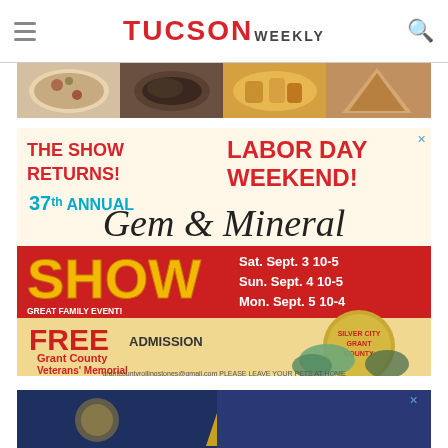TUCSON WEEKLY
[Figure (photo): Food photography strip showing various dishes including pizza, sandwiches, appetizers]
[Figure (infographic): Advertisement for 37th Annual Gem & Mineral Show. THE SHOW RETURNS! LABOR DAY WEEKEND! 37th ANNUAL Gem & Mineral SHOW. Sat. Sept. 3 10-5, Sun. Sept. 4 10-5, Mon. Sept. 5 10-4. GREAT FAMILY EVENT! FREE ADMISSION. Grant County Veterans' Memorial Conference Center. SILVER CITY, NEW MEXICO. PAID IN PART BY SILVER CITY LODGER'S TAX. grantcountyrollingstones@gmail.com PLEASE LEAVE YOUR PETS AT HOME]
[Figure (photo): Bottom advertisement partial view with dark blue background and gold/yellow star or monument shape]